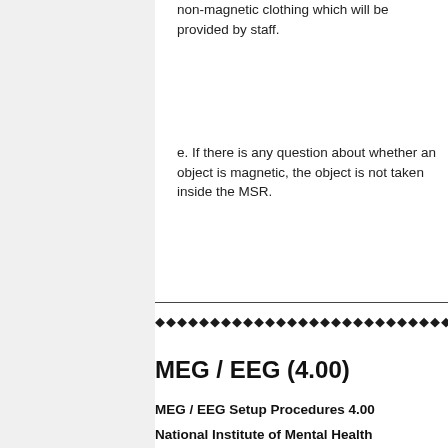non-magnetic clothing which will be provided by staff.
e. If there is any question about whether an object is magnetic, the object is not taken inside the MSR.
MEG / EEG (4.00)
MEG / EEG Setup Procedures 4.00
National Institute of Mental Health